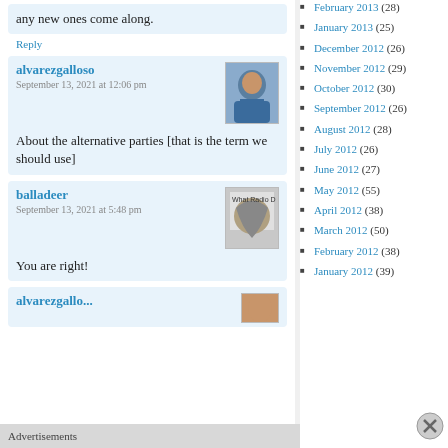any new ones come along.
Reply
alvarezgalloso
September 13, 2021 at 12:06 pm
About the alternative parties [that is the term we should use]
balladeer
September 13, 2021 at 5:48 pm
You are right!
alvarezgallo...
February 2013 (28)
January 2013 (25)
December 2012 (26)
November 2012 (29)
October 2012 (30)
September 2012 (26)
August 2012 (28)
July 2012 (26)
June 2012 (27)
May 2012 (55)
April 2012 (38)
March 2012 (50)
February 2012 (38)
January 2012 (39)
Advertisements